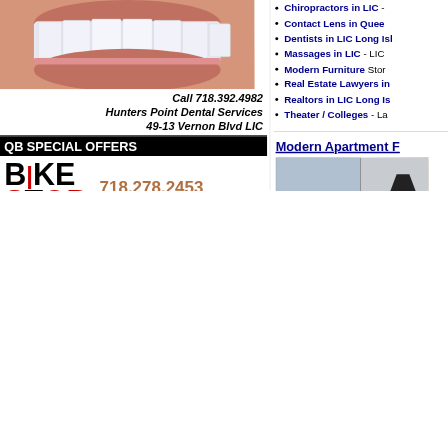[Figure (photo): Close-up photo of a person's smile showing teeth and lips]
Call 718.392.4982
Hunters Point Dental Services
49-13 Vernon Blvd LIC
QB SPECIAL OFFERS
[Figure (photo): Bike Stop advertisement with logo showing BIKE STOP text, phone number 718.278.2453, and a black bicycle image]
QB SPECIAL OFFERS
Click  Halvatzis  Realty
SOLD $960,000
Chiropractors in LIC -
Contact Lens in Quee
Dentists in LIC Long Is
Massages in LIC - LIC
Modern Furniture Stor
Real Estate Lawyers in
Realtors in LIC Long Is
Theater / Colleges - La
Modern Apartment F
[Figure (photo): A woman in a modern apartment setting with contemporary furniture]
stores in Astoria.
Click here to view a map
Click to view the busine